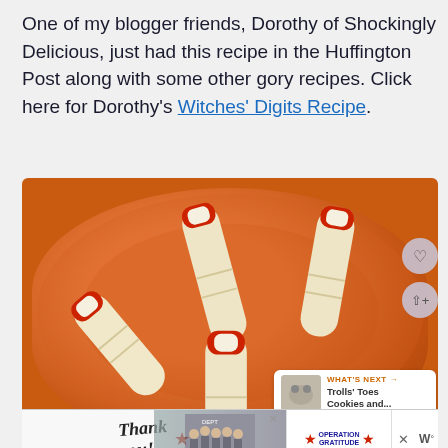One of my blogger friends, Dorothy of Shockingly Delicious, just had this recipe in the Huffington Post along with some other gory recipes. Click here for Dorothy's Witches' Digits Recipe.
[Figure (photo): Photo of finger-shaped cookie treats with red fingernails placed on an orange ceramic plate, resembling severed witch fingers. An overlay shows a 'What's Next' card for 'Trolls' Toes Cookies and...' A heart icon and share icon appear on the right edge.]